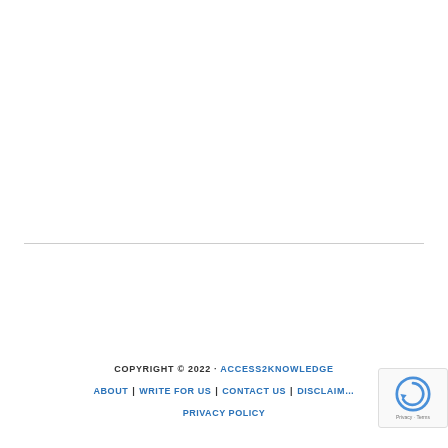COPYRIGHT © 2022 · ACCESS2KNOWLEDGE
ABOUT | WRITE FOR US | CONTACT US | DISCLAIMER
PRIVACY POLICY